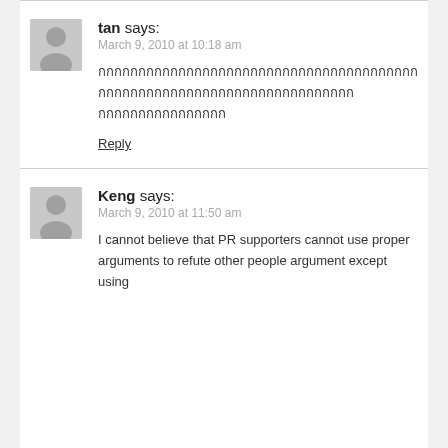tan says: March 9, 2010 at 10:18 am
Thai script text (two lines)
Reply
Keng says: March 9, 2010 at 11:50 am
I cannot believe that PR supporters cannot use proper arguments to refute other people argument except using